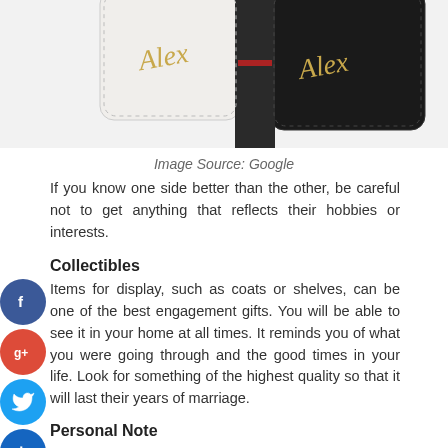[Figure (photo): Product photo showing white and black leather/leatherette cases with gold script lettering, viewed from top, cropped to show upper portion only.]
Image Source: Google
If you know one side better than the other, be careful not to get anything that reflects their hobbies or interests.
Collectibles
Items for display, such as coats or shelves, can be one of the best engagement gifts. You will be able to see it in your home at all times. It reminds you of what you were going through and the good times in your life. Look for something of the highest quality so that it will last their years of marriage.
Personal Note
Items engraved with a beautiful message or their name and an upcoming wedding date could be perfect. People are totally attached to this type of engagement gift because it reflects the changes that will be happening in their life in the near future.